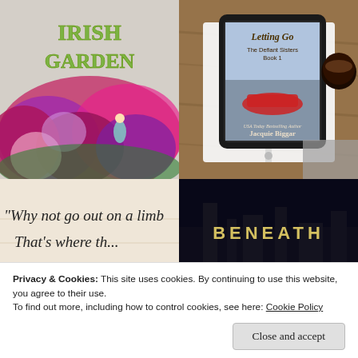[Figure (photo): Book cover for 'Irish Garden' showing the title text in green lettering over colorful hydrangea flowers with a small fairy figurine]
[Figure (photo): E-reader/tablet on a spiral notebook showing book cover 'Letting Go - The Defiant Sisters Book 1' by Jacquie Biggar (USA Today Bestselling Author), with a coffee cup on a wooden table]
[Figure (photo): Close-up of book page with text reading: "Why not go out on a limb That's where th..."]
[Figure (photo): Dark book cover showing 'BENEATH DEVIL'S' in large yellow letters on a dark silhouetted background]
Privacy & Cookies: This site uses cookies. By continuing to use this website, you agree to their use.
To find out more, including how to control cookies, see here: Cookie Policy
Close and accept